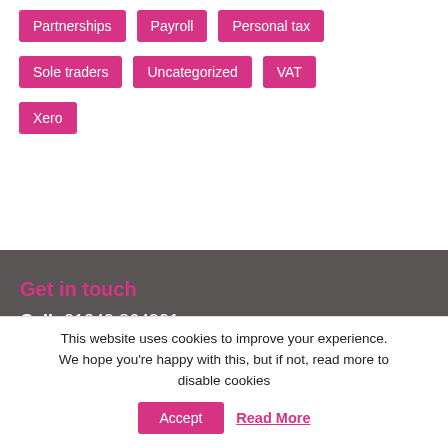Partnerships
Payroll
Personal tax
Sole traders
Uncategorized
VAT
Xero
Get in touch
Call:   01249 864991
This website uses cookies to improve your experience. We hope you're happy with this, but if not, read more to disable cookies
Accept
Read More